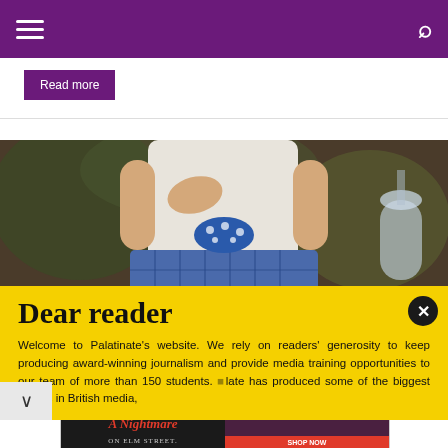Navigation header with hamburger menu and search icon
Read more
[Figure (photo): Photo of a person wearing a white crop top and blue plaid skirt with a blue polka-dot bow, hand placed on chest, dark blurred background with a drink visible on the right]
Dear reader
Welcome to Palatinate's website. We rely on readers' generosity to keep producing award-winning journalism and provide media training opportunities to our team of more than 150 students. Palatinate has produced some of the biggest names in British media,
[Figure (screenshot): Advertisement for Hot Topic: A Nightmare on Elm Street merchandise with Shop Now button, featuring dark background with red and yellow branding and people in dark clothing]